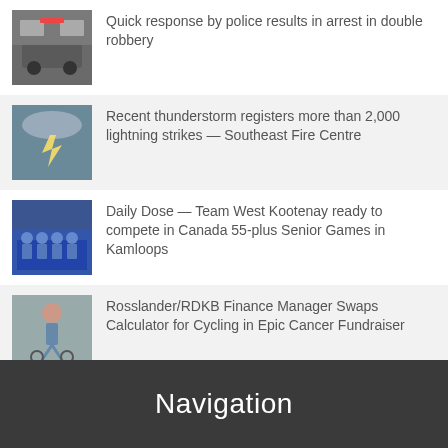Quick response by police results in arrest in double robbery
Recent thunderstorm registers more than 2,000 lightning strikes — Southeast Fire Centre
Daily Dose — Team West Kootenay ready to compete in Canada 55-plus Senior Games in Kamloops
Rosslander/RDKB Finance Manager Swaps Calculator for Cycling in Epic Cancer Fundraiser
MORE
Navigation